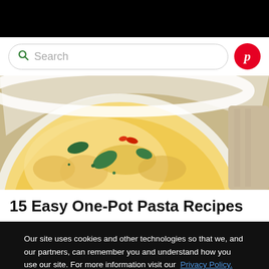[Figure (screenshot): White search bar with green search icon and placeholder text 'Search', plus a red circular Pinterest button on the right]
[Figure (photo): Close-up photo of a creamy pasta dish in a white bowl with spinach leaves, red chili pieces, and herb garnish]
15 Easy One-Pot Pasta Recipes
Our site uses cookies and other technologies so that we, and our partners, can remember you and understand how you use our site. For more information visit our  Privacy Policy.
OK